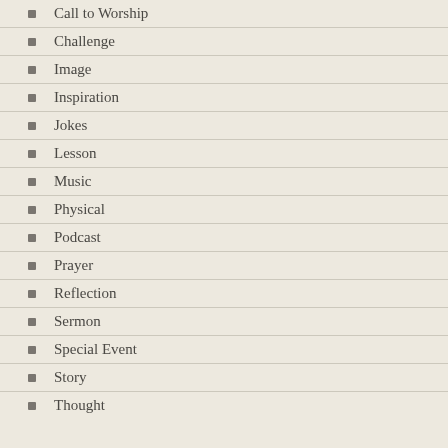Call to Worship
Challenge
Image
Inspiration
Jokes
Lesson
Music
Physical
Podcast
Prayer
Reflection
Sermon
Special Event
Story
Thought